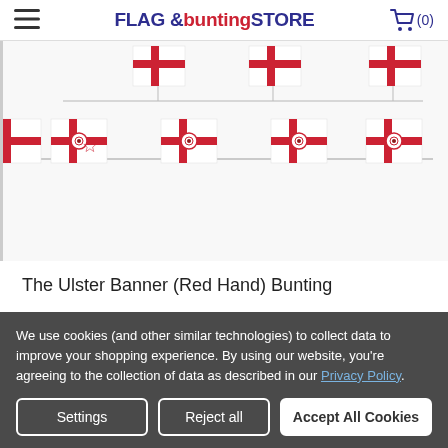FLAG & bunting STORE (0)
[Figure (photo): Product photo showing Ulster Banner (Red Hand) bunting with multiple small rectangular flags on a string, white background with red cross and red hand star design]
The Ulster Banner (Red Hand) Bunting
£9.60
We use cookies (and other similar technologies) to collect data to improve your shopping experience. By using our website, you're agreeing to the collection of data as described in our Privacy Policy.
Settings | Reject all | Accept All Cookies